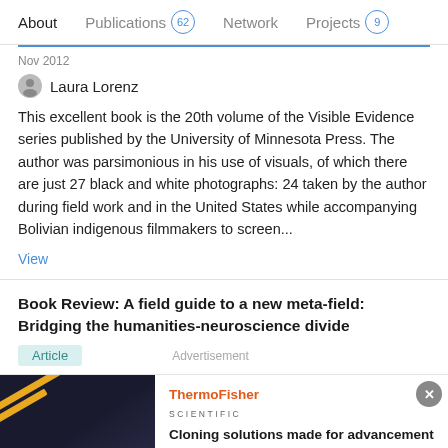About  Publications 62  Network  Projects 9
Nov 2012
Laura Lorenz
This excellent book is the 20th volume of the Visible Evidence series published by the University of Minnesota Press. The author was parsimonious in his use of visuals, of which there are just 27 black and white photographs: 24 taken by the author during field work and in the United States while accompanying Bolivian indigenous filmmakers to screen...
View
Book Review: A field guide to a new meta-field: Bridging the humanities-neuroscience divide
Article
Advertisement
[Figure (illustration): ThermoFisher Scientific advertisement banner with dark background image showing cloning-related imagery, ThermoFisher Scientific logo, and headline 'Cloning solutions made for advancement']